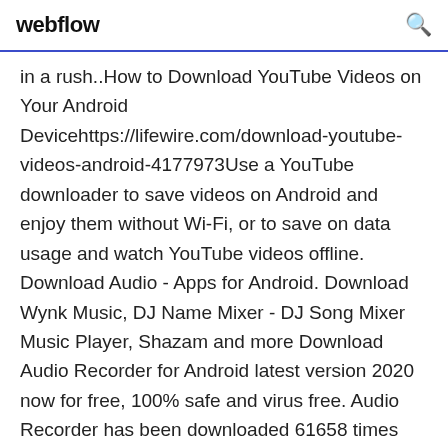webflow
in a rush..How to Download YouTube Videos on Your Android Devicehttps://lifewire.com/download-youtube-videos-android-4177973Use a YouTube downloader to save videos on Android and enjoy them without Wi-Fi, or to save on data usage and watch YouTube videos offline. Download Audio - Apps for Android. Download Wynk Music, DJ Name Mixer - DJ Song Mixer Music Player, Shazam and more Download Audio Recorder for Android latest version 2020 now for free, 100% safe and virus free. Audio Recorder has been downloaded 61658 times this month! Click now to download it.